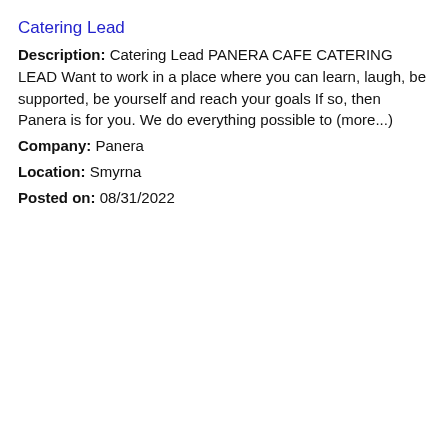Catering Lead
Description: Catering Lead PANERA CAFE CATERING LEAD Want to work in a place where you can learn, laugh, be supported, be yourself and reach your goals If so, then Panera is for you. We do everything possible to (more...)
Company: Panera
Location: Smyrna
Posted on: 08/31/2022